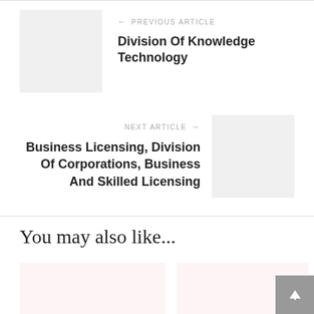← PREVIOUS ARTICLE
Division Of Knowledge Technology
NEXT ARTICLE →
Business Licensing, Division Of Corporations, Business And Skilled Licensing
You may also like...